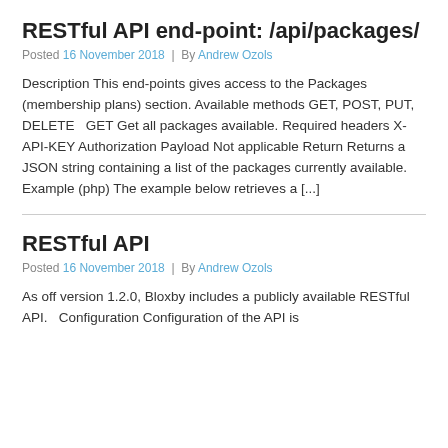RESTful API end-point: /api/packages/
Posted 16 November 2018  |  By Andrew Ozols
Description This end-points gives access to the Packages (membership plans) section. Available methods GET, POST, PUT, DELETE   GET Get all packages available. Required headers X-API-KEY Authorization Payload Not applicable Return Returns a JSON string containing a list of the packages currently available. Example (php) The example below retrieves a [...]
RESTful API
Posted 16 November 2018  |  By Andrew Ozols
As off version 1.2.0, Bloxby includes a publicly available RESTful API.   Configuration Configuration of the API is